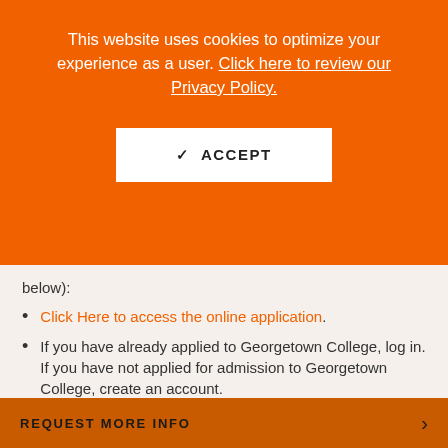This website uses cookies to optimize your experience as a user. Click here to review our Privacy Policy.
✓ ACCEPT
below):
Click Here to access the online application.
If you have already applied to Georgetown College, log in. If you have not applied for admission to Georgetown College, create an account.
REQUEST MORE INFO ›